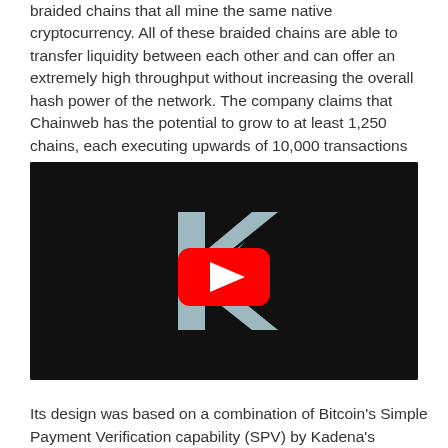braided chains that all mine the same native cryptocurrency. All of these braided chains are able to transfer liquidity between each other and can offer an extremely high throughput without increasing the overall hash power of the network. The company claims that Chainweb has the potential to grow to at least 1,250 chains, each executing upwards of 10,000 transactions per second.
[Figure (screenshot): YouTube video embed showing a dark background with a large stylized letter K logo in grey/teal and a red YouTube play button overlay in the center.]
Its design was based on a combination of Bitcoin's Simple Payment Verification capability (SPV) by Kadena's...